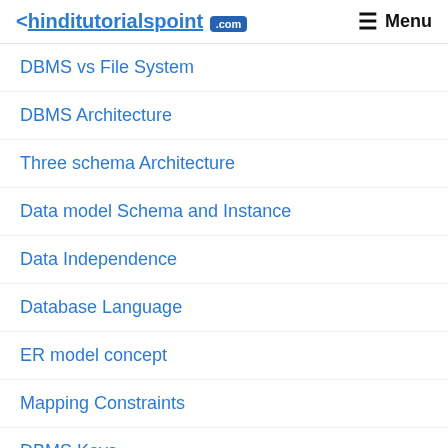<hinditutorialspoint .com  Menu
DBMS vs File System
DBMS Architecture
Three schema Architecture
Data model Schema and Instance
Data Independence
Database Language
ER model concept
Mapping Constraints
DBMS Keys
Generalization
Specialization